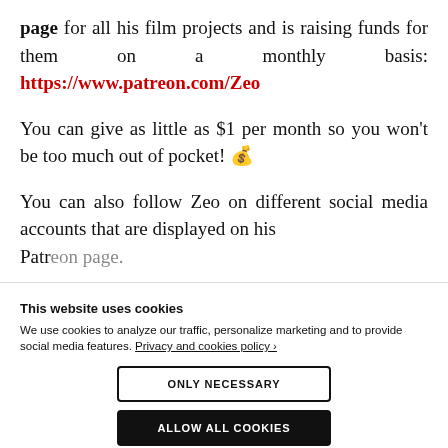page for all his film projects and is raising funds for them on a monthly basis: https://www.patreon.com/Zeo
You can give as little as $1 per month so you won't be too much out of pocket! 💰
You can also follow Zeo on different social media accounts that are displayed on his Patreon page.
This website uses cookies
We use cookies to analyze our traffic, personalize marketing and to provide social media features. Privacy and cookies policy ›
ONLY NECESSARY
ALLOW ALL COOKIES
CONFIGURE SETTINGS ›
PORN ABORTION RIGHTS IN AMERICA (2024 ART)